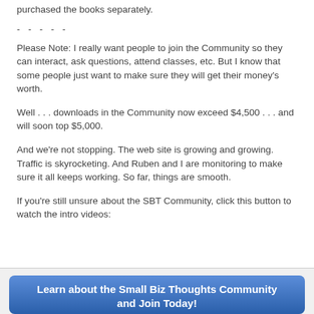purchased the books separately.
- - - - -
Please Note: I really want people to join the Community so they can interact, ask questions, attend classes, etc. But I know that some people just want to make sure they will get their money's worth.
Well . . . downloads in the Community now exceed $4,500 . . . and will soon top $5,000.
And we're not stopping. The web site is growing and growing. Traffic is skyrocketing. And Ruben and I are monitoring to make sure it all keeps working. So far, things are smooth.
If you're still unsure about the SBT Community, click this button to watch the intro videos:
[Figure (other): Blue rounded button with text: Learn about the Small Biz Thoughts Community and Join Today!]